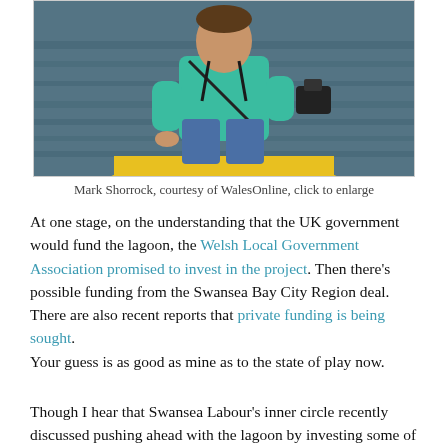[Figure (photo): A person wearing a teal/green jacket and jeans sitting on a yellow watercraft on water, with a camera or equipment visible. Photo of Mark Shorrock on a boat/water vessel.]
Mark Shorrock, courtesy of WalesOnline, click to enlarge
At one stage, on the understanding that the UK government would fund the lagoon, the Welsh Local Government Association promised to invest in the project. Then there’s possible funding from the Swansea Bay City Region deal. There are also recent reports that private funding is being sought.
Your guess is as good as mine as to the state of play now.
Though I hear that Swansea Labour’s inner circle recently discussed pushing ahead with the lagoon by investing some of